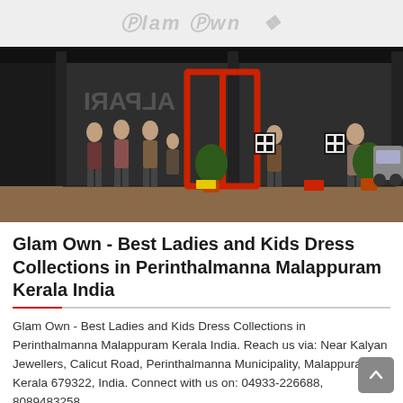Glam Own
[Figure (photo): Storefront photo of Glam Own clothing store showing mannequins displaying ladies and kids dress collections, red entrance door frame, large glass windows, and potted plants outside.]
Glam Own - Best Ladies and Kids Dress Collections in Perinthalmanna Malappuram Kerala India
Glam Own - Best Ladies and Kids Dress Collections in Perinthalmanna Malappuram Kerala India. Reach us via: Near Kalyan Jewellers, Calicut Road, Perinthalmanna Municipality, Malappuram, Kerala 679322, India. Connect with us on: 04933-226688, 8089483258